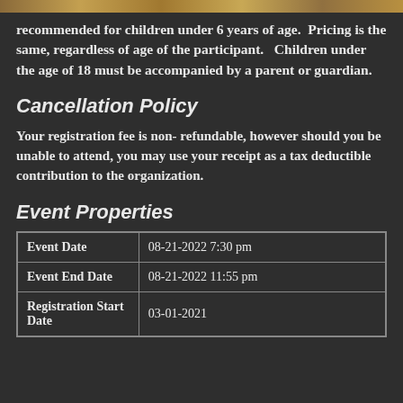[Figure (photo): Partial image strip at top of page showing a nature/wildlife scene]
recommended for children under 6 years of age. Pricing is the same, regardless of age of the participant. Children under the age of 18 must be accompanied by a parent or guardian.
Cancellation Policy
Your registration fee is non- refundable, however should you be unable to attend, you may use your receipt as a tax deductible contribution to the organization.
Event Properties
|  |  |
| --- | --- |
| Event Date | 08-21-2022 7:30 pm |
| Event End Date | 08-21-2022 11:55 pm |
| Registration Start Date | 03-01-2021 |